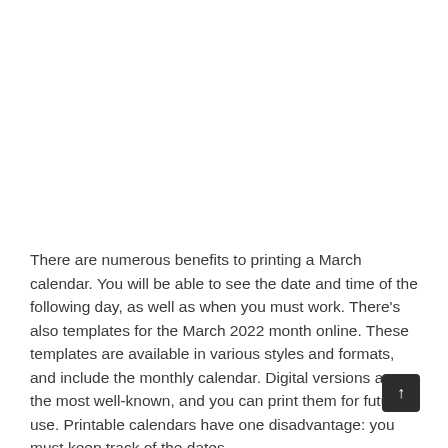There are numerous benefits to printing a March calendar. You will be able to see the date and time of the following day, as well as when you must work. There's also templates for the March 2022 month online. These templates are available in various styles and formats, and include the monthly calendar. Digital versions are the most well-known, and you can print them for future use. Printable calendars have one disadvantage: you must keep track of the dates.